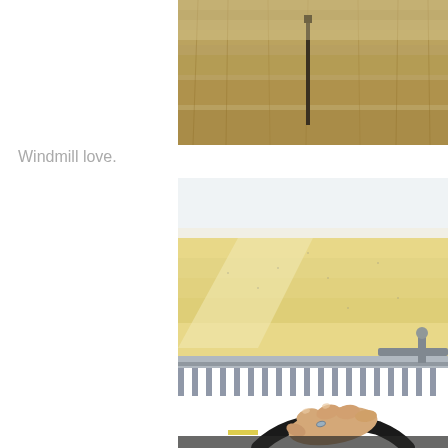[Figure (photo): Partial view of a harvested or dry grass field, with brown/tan dried grass visible, and a thin dark post/stick visible in the middle of the image.]
Windmill love.
[Figure (photo): View from inside a combine harvester cab, showing a hand with a ring on the steering wheel, the combine header with tines/teeth visible below, and a large golden wheat field stretching to the horizon under a hazy sky.]